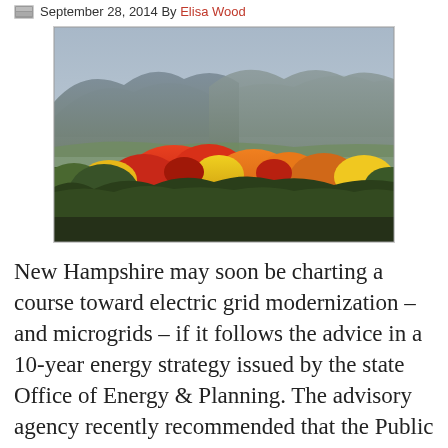September 28, 2014 By Elisa Wood
[Figure (photo): Aerial view of New Hampshire mountains in autumn with colorful fall foliage — red, orange, yellow and green trees in the foreground with mountain ridges in the background under a hazy blue-grey sky.]
New Hampshire may soon be charting a course toward electric grid modernization – and microgrids – if it follows the advice in a 10-year energy strategy issued by the state Office of Energy & Planning. The advisory agency recently recommended that the Public Utilities Commission investigate grid modernization, in keeping